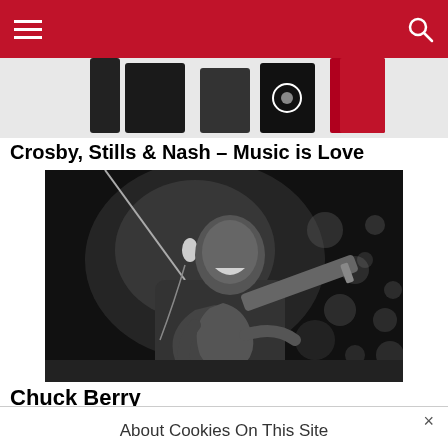Navigation header with hamburger menu and search icon
[Figure (photo): Partial top image showing electronic devices and a red book/product on a white background]
Crosby, Stills & Nash – Music is Love
[Figure (photo): Black and white concert photo of Chuck Berry playing guitar and singing into a microphone on stage with bokeh lights in background]
Chuck Berry
About Cookies On This Site
I UNDERSTAND
COOKIE CHOICES